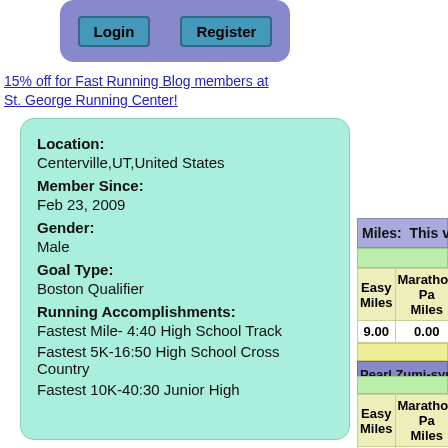[Figure (screenshot): Login and Register buttons in a rounded purple box]
15% off for Fast Running Blog members at St. George Running Center!
Location: Centerville,UT,United States
Member Since: Feb 23, 2009
Gender: Male
Goal Type: Boston Qualifier
Running Accomplishments: Fastest Mile- 4:40 High School Track Fastest 5K-16:50 High School Cross Country Fastest 10K-40:30 Junior High
| Miles: | This v |
| --- | --- |
| Easy Miles | Marathon Pace Miles |
| 9.00 | 0.00 |
Pearl Zumi-syncroPage 3.50
Weight: 0.00
| Easy Miles | Marathon Pace Miles |
| --- | --- |
| 3.50 | 0.00 |